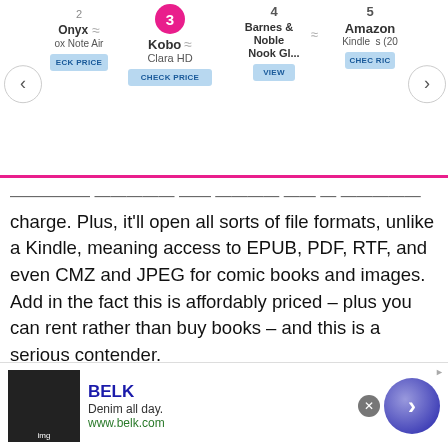[Figure (screenshot): Navigation bar showing e-reader comparison with numbered items: 2 (Onyx, Note Air), 3 active (Kobo, Clara HD), 4 (Barnes & Noble, Nook Gl...), 5 (Amazon, Kindle ...). Each has a CHECK PRICE or VIEW button. Left and right arrow navigation buttons are visible.]
...ensive battery life that goes for weeks on a single charge. Plus, it'll open all sorts of file formats, unlike a Kindle, meaning access to EPUB, PDF, RTF, and even CMZ and JPEG for comic books and images. Add in the fact this is affordably priced – plus you can rent rather than buy books – and this is a serious contender.
[Figure (screenshot): Advertisement banner with label 'Advertisement' and AV.iQ logo on dark background]
[Figure (screenshot): Bottom banner ad for BELK: 'Denim all day.' www.belk.com, with a close button and circular navigation button]